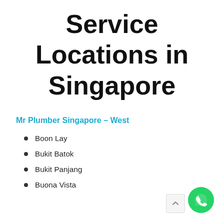Service Locations in Singapore
Mr Plumber Singapore – West
Boon Lay
Bukit Batok
Bukit Panjang
Buona Vista